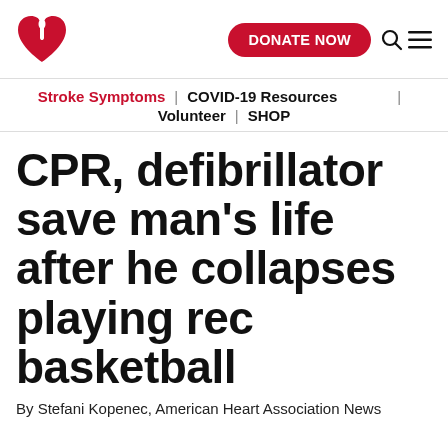[Figure (logo): American Heart Association logo: red heart with flame/torch]
DONATE NOW | Search | Menu
Stroke Symptoms | COVID-19 Resources | Volunteer | SHOP
CPR, defibrillator save man's life after he collapses playing rec basketball
By Stefani Kopenec, American Heart Association News